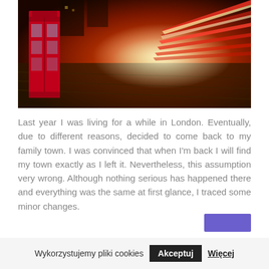[Figure (photo): Night scene of London street with red telephone box on the left and streaking car light trails in red, yellow, and white colors converging toward a bright vanishing point.]
Last year I was living for a while in London. Eventually, due to different reasons, decided to come back to my family town. I was convinced that when I'm back I will find my town exactly as I left it. Nevertheless, this assumption very wrong. Although nothing serious has happened there and everything was the same at first glance, I traced some minor changes.
Wykorzystujemy pliki cookies   Akceptuj   Więcej